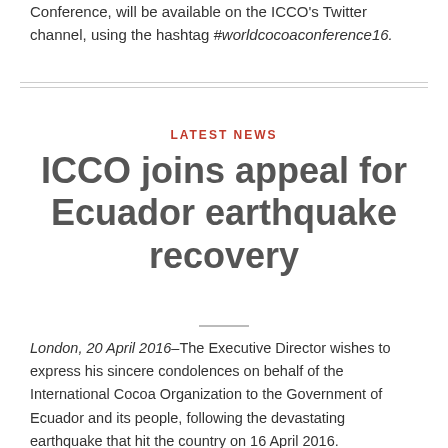Conference, will be available on the ICCO's Twitter channel, using the hashtag #worldcocoaconference16.
LATEST NEWS
ICCO joins appeal for Ecuador earthquake recovery
London, 20 April 2016–The Executive Director wishes to express his sincere condolences on behalf of the International Cocoa Organization to the Government of Ecuador and its people, following the devastating earthquake that hit the country on 16 April 2016.